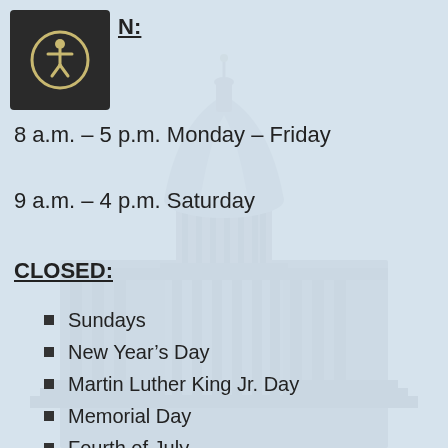[Figure (illustration): Background watermark image of a government capitol building dome, light blue toned, faded]
[Figure (logo): Accessibility icon — person in circle on dark background square — with partial section header text 'N:' underlined]
8 a.m. – 5 p.m. Monday – Friday
9 a.m. – 4 p.m. Saturday
CLOSED:
Sundays
New Year's Day
Martin Luther King Jr. Day
Memorial Day
Fourth of July
Labor Day